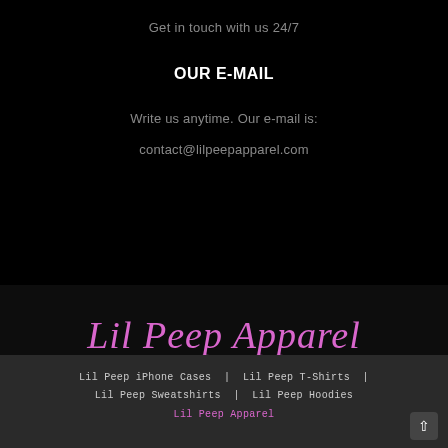Get in touch with us 24/7
OUR E-MAIL
Write us anytime. Our e-mail is:
contact@lilpeepapparel.com
Lil Peep Apparel
Lil Peep iPhone Cases | Lil Peep T-Shirts | Lil Peep Sweatshirts | Lil Peep Hoodies
Lil Peep Apparel